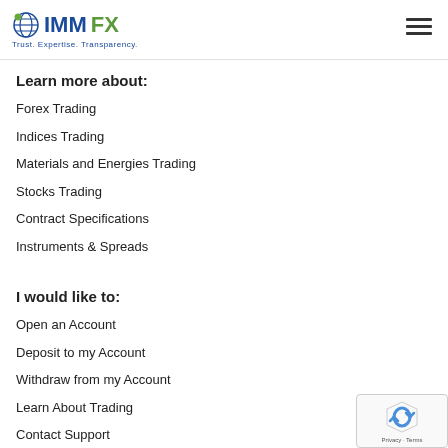IMMFX — Trust. Expertise. Transparency.
Learn more about:
Forex Trading
Indices Trading
Materials and Energies Trading
Stocks Trading
Contract Specifications
Instruments & Spreads
I would like to:
Open an Account
Deposit to my Account
Withdraw from my Account
Learn About Trading
Contact Support
Request for Callback
Download MetaTrader 4 for desktop/mobile